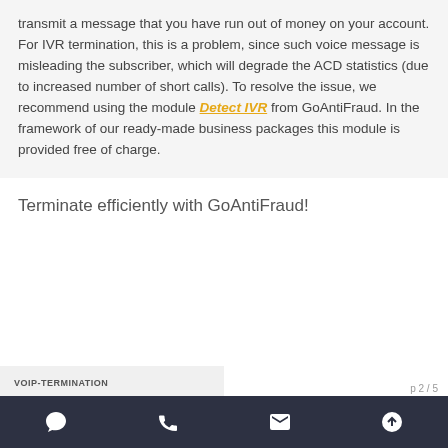transmit a message that you have run out of money on your account. For IVR termination, this is a problem, since such voice message is misleading the subscriber, which will degrade the ACD statistics (due to increased number of short calls). To resolve the issue, we recommend using the module Detect IVR from GoAntiFraud. In the framework of our ready-made business packages this module is provided free of charge.
Terminate efficiently with GoAntiFraud!
VOIP-TERMINATION